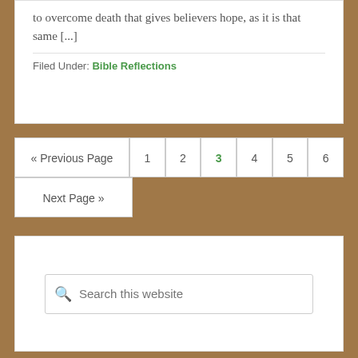to overcome death that gives believers hope, as it is that same [...]
Filed Under: Bible Reflections
« Previous Page  1  2  3  4  5  6  Next Page »
Search this website